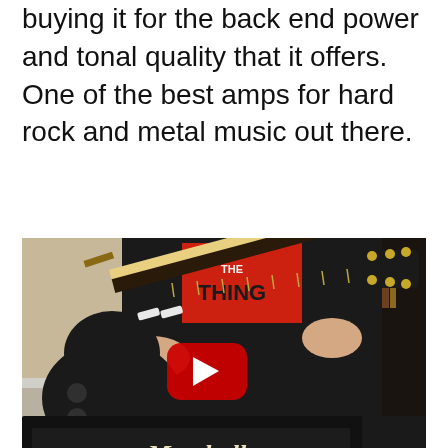buying it for the back end power and tonal quality that it offers. One of the best amps for hard rock and metal music out there.
[Figure (screenshot): A person playing a black electric guitar (Les Paul style) while seated, with a Marshall JCM 800 Lead Series amplifier head visible in the foreground. A YouTube play button overlay is centered on the image.]
2. Mesa Engineering IR 2C